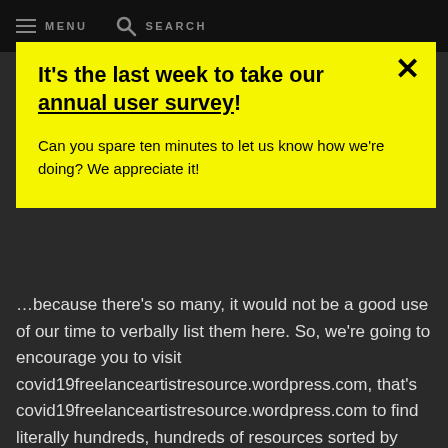MENU  SEARCH
It's the last week to take our annual user survey! Can you spare ten minutes to let us know how we're doing? We appreciate it!
…because there's so many, it would not be a good use of our time to verbally list them here. So, we're going to encourage you to visit covid19freelanceartistresource.wordpress.com, that's covid19freelanceartistresource.wordpress.com to find literally hundreds, hundreds of resources sorted by topics including mental health and health needs, advocacy, financial needs, remote job opportunities, and interrupting racism and bias among many others. So, if you need a…